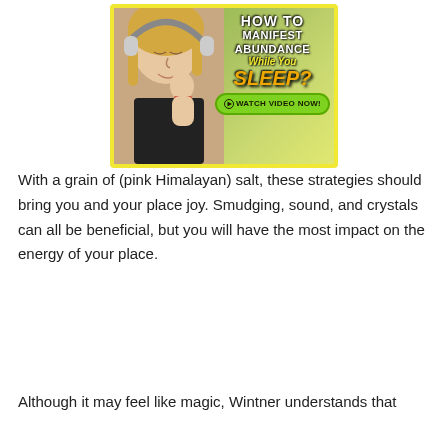[Figure (illustration): Advertisement banner showing a woman with headphones and eyes closed, with text overlay reading 'HOW TO MANIFEST ABUNDANCE While You SLEEP?' and a green 'WATCH VIDEO NOW!' button. Yellow border around the ad.]
With a grain of (pink Himalayan) salt, these strategies should bring you and your place joy. Smudging, sound, and crystals can all be beneficial, but you will have the most impact on the energy of your place.
Although it may feel like magic, Wintner understands that